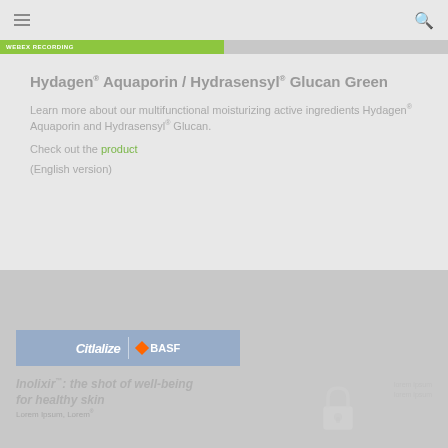(navigation bar with hamburger menu and search icon)
WEBEX RECORDING
Hydagen® Aquaporin / Hydrasensyl® Glucan Green
Learn more about our multifunctional moisturizing active ingredients Hydagen® Aquaporin and Hydrasensyl® Glucan.
Check out the product
(English version)
[Figure (screenshot): Product card showing Citlalize and BASF logo banner, with title 'Inolixir™: the shot of well-being for healthy skin' and a padlock icon graphic, faded grey overlay presentation card]